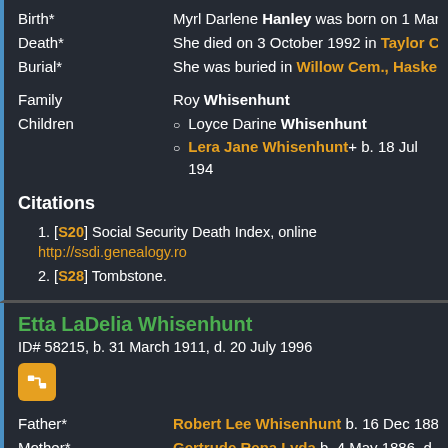Birth* — Myrl Darlene Hanley was born on 1 Marc...
Death* — She died on 3 October 1992 in Taylor Co...
Burial* — She was buried in Willow Cem., Haskell...
Family — Roy Whisenhunt
Children — Loyce Darine Whisenhunt; Lera Jane Whisenhunt+ b. 18 Jul 194...
Citations
1. [S20] Social Security Death Index, online http://ssdi.genealogy.ro...
2. [S28] Tombstone.
Etta LaDelia Whisenhunt
ID# 58215, b. 31 March 1911, d. 20 July 1996
Father* — Robert Lee Whisenhunt b. 16 Dec 1884...
Mother* — Gertrude Rena Lyda b. 4 May 1886, d. 6...
Birth* — Etta LaDelia Whisenhunt was born on 3...
Marriage* — She married Thomas V. N...